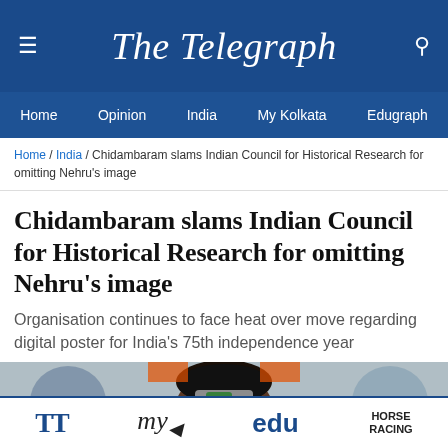The Telegraph
Home / India / Chidambaram slams Indian Council for Historical Research for omitting Nehru's image
Chidambaram slams Indian Council for Historical Research for omitting Nehru's image
Organisation continues to face heat over move regarding digital poster for India's 75th independence year
[Figure (photo): Photograph of Chidambaram and others at an event, partially cropped]
TT | my | edu | HORSE RACING